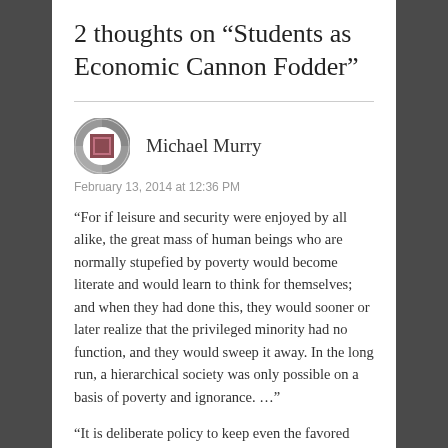2 thoughts on “Students as Economic Cannon Fodder”
Michael Murry
February 13, 2014 at 12:36 PM
“For if leisure and security were enjoyed by all alike, the great mass of human beings who are normally stupefied by poverty would become literate and would learn to think for themselves; and when they had done this, they would sooner or later realize that the privileged minority had no function, and they would sweep it away. In the long run, a hierarchical society was only possible on a basis of poverty and ignorance. …”
“It is deliberate policy to keep even the favored